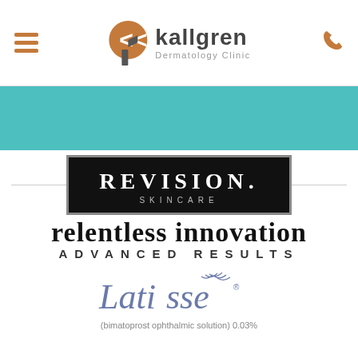kallgren Dermatology Clinic
[Figure (logo): Teal banner background strip]
[Figure (logo): Revision Skincare logo — black box with white text: REVISION. SKINCARE, with taglines: relentless innovation / ADVANCED RESULTS]
[Figure (logo): Latisse logo — (bimatoprost ophthalmic solution) 0.03%]